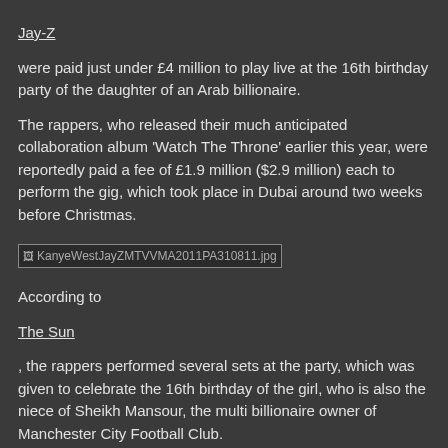Jay-Z
were paid just under £4 million to play live at the 16th birthday party of the daughter of an Arab billionaire.
The rappers, who released their much anticipated collaboration album 'Watch The Throne' earlier this year, were reportedly paid a fee of £1.9 million ($2.9 million) each to perform the gig, which took place in Dubai around two weeks before Christmas.
[Figure (photo): Broken image placeholder: KanyeWestJayZMTVVMA2011PA310811.jpg]
According to
The Sun
, the rappers performed several sets at the party, which was given to celebrate the 16th birthday of the girl, who is also the niece of Sheikh Mansour, the multi billionaire owner of Manchester City Football Club.
Jay-Z
has previously hinted that the second release from his and West's